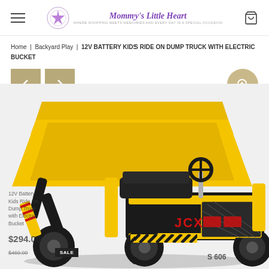Mommy's Little Heart — navigation header with hamburger menu and cart icon
Home | Backyard Play | 12V BATTERY KIDS RIDE ON DUMP TRUCK WITH ELECTRIC BUCKET
[Figure (photo): Yellow and black JCX S606 kids ride-on dump truck with electric bucket, shown from rear-left angle. The truck features a raised yellow dump bucket at the front, a black seat, steering wheel, and JCX branding on the side.]
12V Battery Kids Ride On Dump Truck with Electric Bucket
$294.00
SALE